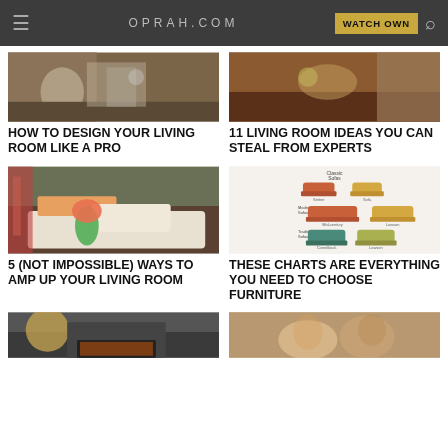OPRAH.COM | WATCH OWN
[Figure (photo): Living room/dining table scene with white figurine and glassware]
[Figure (photo): Warm-toned room with fruit bowl and brick wall]
HOW TO DESIGN YOUR LIVING ROOM LIKE A PRO
11 LIVING ROOM IDEAS YOU CAN STEAL FROM EXPERTS
[Figure (photo): Elegant living room with white tufted sofa and orange accent pillows with floral arrangement]
[Figure (illustration): Chart/diagram showing different sofa styles: Classic Sofas, Modern Sofas, Traditional Sofas with color swatches]
5 (NOT IMPOSSIBLE) WAYS TO AMP UP YOUR LIVING ROOM
THESE CHARTS ARE EVERYTHING YOU NEED TO CHOOSE FURNITURE
[Figure (photo): Living room with fireplace and decorative mirror]
[Figure (photo): Couple looking at something together, smiling]